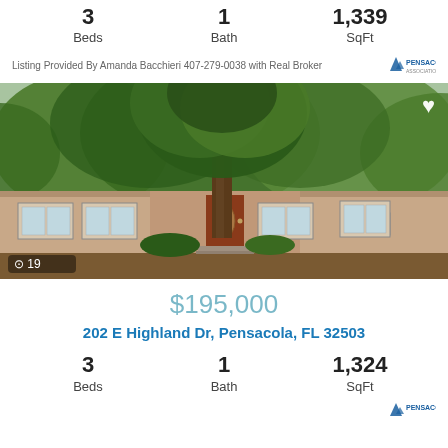3 Beds  1 Bath  1,339 SqFt
Listing Provided By Amanda Bacchieri 407-279-0038 with Real Broker
[Figure (photo): Exterior photo of a single-story brick ranch house with large trees in front, red door, multiple windows. Camera icon with 19 photos badge in bottom left, heart/favorite icon in top right.]
$195,000
202 E Highland Dr, Pensacola, FL 32503
3 Beds  1 Bath  1,324 SqFt